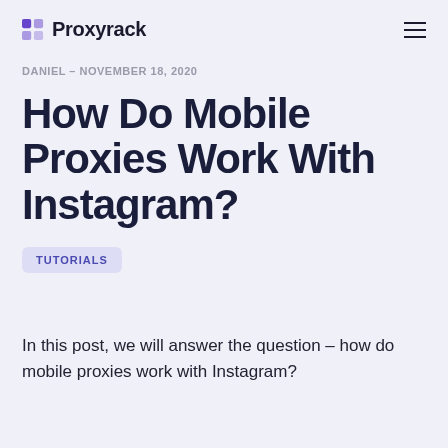Proxyrack
DANIEL – NOVEMBER 18, 2020
How Do Mobile Proxies Work With Instagram?
TUTORIALS
In this post, we will answer the question – how do mobile proxies work with Instagram?